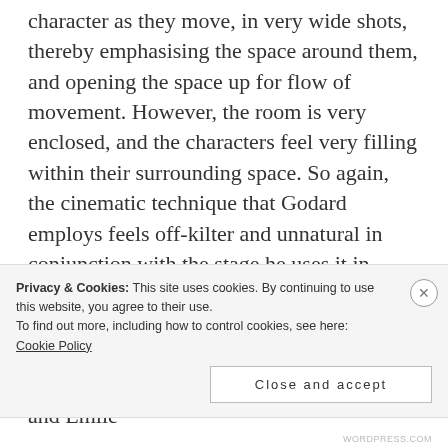character as they move, in very wide shots, thereby emphasising the space around them, and opening the space up for flow of movement. However, the room is very enclosed, and the characters feel very filling within their surrounding space. So again, the cinematic technique that Godard employs feels off-kilter and unnatural in conjunction with the stage he uses it in, allowing us to question and take note of it. Later, while Emile threatens to call for Alfred out of the apartment window, the action of the film suddenly pauses, Angela and Emile
Privacy & Cookies: This site uses cookies. By continuing to use this website, you agree to their use.
To find out more, including how to control cookies, see here: Cookie Policy
Close and accept
WORDPRESS.COM